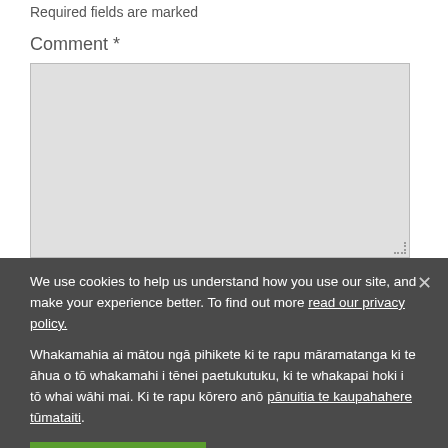Required fields are marked
Comment *
[Figure (screenshot): Empty comment textarea input box with resize handle]
We use cookies to help us understand how you use our site, and make your experience better. To find out more read our privacy policy. Whakamahia ai mātou ngā pihikete ki te rapu māramatanga ki te āhua o tō whakamahi i tēnei paetukutuku, ki te whakapai hoki i tō whai wāhi mai. Ki te rapu kōrero anō pānuitia te kaupahahere tūmataiti.
Accept | Whakaaetia